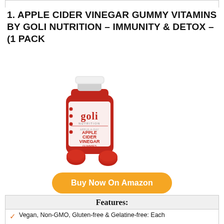1. APPLE CIDER VINEGAR GUMMY VITAMINS BY GOLI NUTRITION – IMMUNITY & DETOX – (1 PACK
[Figure (photo): Red bottle of Goli Nutrition Apple Cider Vinegar Gummy Vitamins with a white cap, with two red gummy candies in front of the bottle. The bottle label reads 'goli nutrition Apple Cider Vinegar Gummies'.]
Buy Now On Amazon
Features:
Vegan, Non-GMO, Gluten-free & Gelatine-free: Each
Better digestion, more energy, clearer skin, detox,